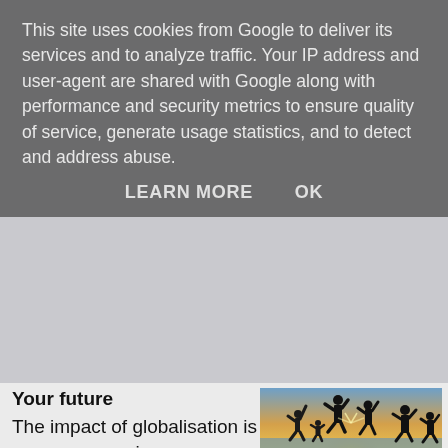This site uses cookies from Google to deliver its services and to analyze traffic. Your IP address and user-agent are shared with Google along with performance and security metrics to ensure quality of service, generate usage statistics, and to detect and address abuse.
LEARN MORE    OK
Your future
The impact of globalisation is now presence in our everyday environment and studying in the UK can put you in a good position if you are seeking employment
[Figure (photo): Silhouettes of people jumping and celebrating on a beach at sunset, backlit by bright sun rays]